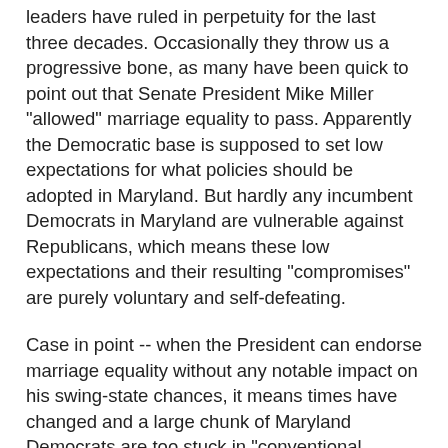leaders have ruled in perpetuity for the last three decades. Occasionally they throw us a progressive bone, as many have been quick to point out that Senate President Mike Miller "allowed" marriage equality to pass. Apparently the Democratic base is supposed to set low expectations for what policies should be adopted in Maryland. But hardly any incumbent Democrats in Maryland are vulnerable against Republicans, which means these low expectations and their resulting "compromises" are purely voluntary and self-defeating.
Case in point -- when the President can endorse marriage equality without any notable impact on his swing-state chances, it means times have changed and a large chunk of Maryland Democrats are too stuck in "conventional wisdom" to see the new realities of public opinion in America. When Democrats in a liberal one-party state like Maryland sit on the sidelines (or oppose social justice) during the raging battle for Maryland's soul, it is time for a disruption. Unfortunately, that disruption is clearly not going to come from within the party. That's why it's up to us to force the Democrats to evolve -- not just on issues, but also about how